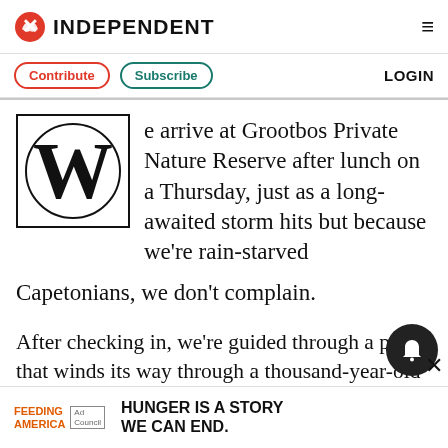INDEPENDENT
Contribute  Subscribe  LOGIN
e arrive at Grootbos Private Nature Reserve after lunch on a Thursday, just as a long-awaited storm hits but because we're rain-starved Capetonians, we don't complain.
After checking in, we're guided through a path that winds its way through a thousand-year-old milkwood forest to our private suite. We're staying in one of 16 free-standing luxury suites at Forest Lodge. The super stylish and
[Figure (other): Ad banner: Feeding America - Hunger is a story we can end.]